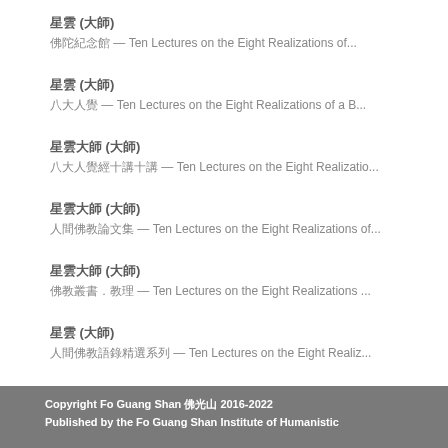星雲 (大師)
佛陀紀念館 — Ten Lectures on the Eight Realizations of...
星雲 (大師)
八大人覺 — Ten Lectures on the Eight Realizations of a B...
星雲大師 (大師)
八大人覺經十講十講 — Ten Lectures on the Eight Realizatio...
星雲大師 (大師)
人間佛教論文集 — Ten Lectures on the Eight Realizations of...
星雲大師 (大師)
佛教叢書．教理 — Ten Lectures on the Eight Realizations ...
星雲 (大師)
人間佛教語錄精選系列 — Ten Lectures on the Eight Realiz...
Copyright Fo Guang Shan 佛光山 2016-2022
Published by the Fo Guang Shan Institute of Humanistic